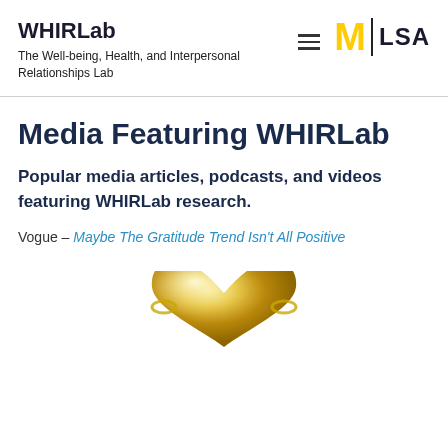WHIRLab – The Well-being, Health, and Interpersonal Relationships Lab
Media Featuring WHIRLab
Popular media articles, podcasts, and videos featuring WHIRLab research.
Vogue – Maybe The Gratitude Trend Isn't All Positive
[Figure (photo): A gold metallic heart-shaped object, cropped at bottom of page]